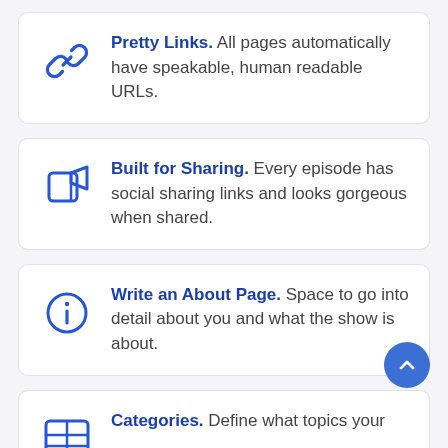Pretty Links. All pages automatically have speakable, human readable URLs.
Built for Sharing. Every episode has social sharing links and looks gorgeous when shared.
Write an About Page. Space to go into detail about you and what the show is about.
Categories. Define what topics your